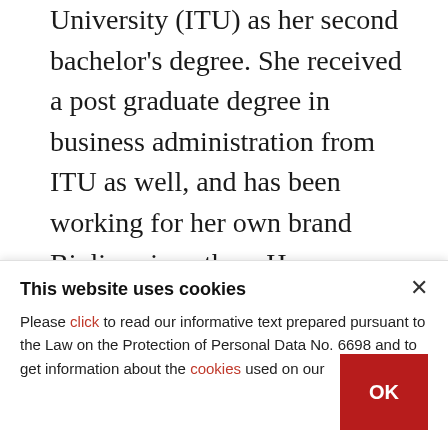University (ITU) as her second bachelor's degree. She received a post graduate degree in business administration from ITU as well, and has been working for her own brand Biolive since then. Her company has received over 20 international awards, including recognition from Mercedes-Benz and Chobani, for its entrepreneurial and environmental contributions to society.
This website uses cookies
Please click to read our informative text prepared pursuant to the Law on the Protection of Personal Data No. 6698 and to get information about the cookies used on our